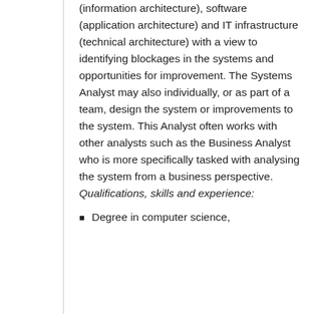(information architecture), software (application architecture) and IT infrastructure (technical architecture) with a view to identifying blockages in the systems and opportunities for improvement. The Systems Analyst may also individually, or as part of a team, design the system or improvements to the system. This Analyst often works with other analysts such as the Business Analyst who is more specifically tasked with analysing the system from a business perspective. Qualifications, skills and experience:
Degree in computer science,